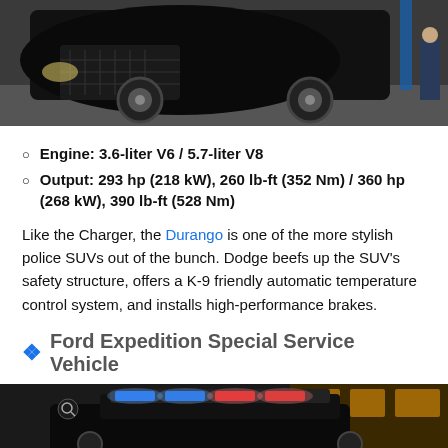[Figure (photo): Black Dodge Durango police SUV parked on pavement, front view, with a person standing to the right]
Engine: 3.6-liter V6 / 5.7-liter V8
Output: 293 hp (218 kW), 260 lb-ft (352 Nm) / 360 hp (268 kW), 390 lb-ft (528 Nm)
Like the Charger, the Durango is one of the more stylish police SUVs out of the bunch. Dodge beefs up the SUV's safety structure, offers a K-9 friendly automatic temperature control system, and installs high-performance brakes.
Ford Expedition Special Service Vehicle
[Figure (photo): Ford Expedition police SUV with blue and red lights activated, parked in front of a building at night]